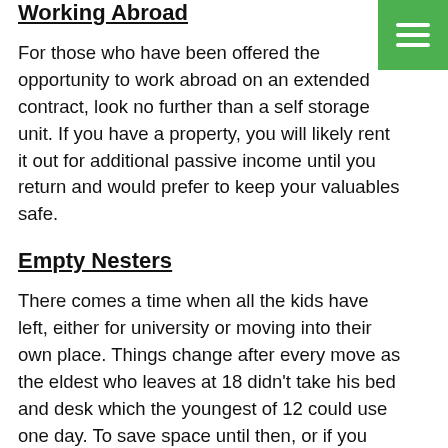Working Abroad
For those who have been offered the opportunity to work abroad on an extended contract, look no further than a self storage unit. If you have a property, you will likely rent it out for additional passive income until you return and would prefer to keep your valuables safe.
Empty Nesters
There comes a time when all the kids have left, either for university or moving into their own place. Things change after every move as the eldest who leaves at 18 didn't take his bed and desk which the youngest of 12 could use one day. To save space until then, or if you want to turn the newly emptied room into a study or crafts room, put everything in storage. Long-term storage contracts are typically cheaper than short-term agreements so you'll save